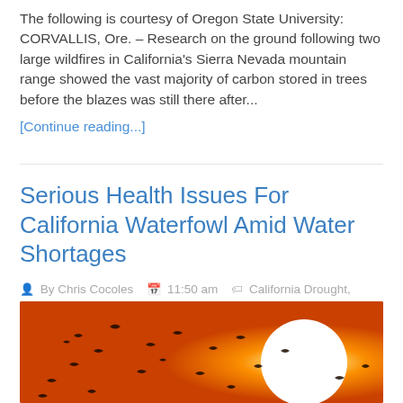The following is courtesy of Oregon State University: CORVALLIS, Ore. – Research on the ground following two large wildfires in California's Sierra Nevada mountain range showed the vast majority of carbon stored in trees before the blazes was still there after...
[Continue reading...]
Serious Health Issues For California Waterfowl Amid Water Shortages
By Chris Cocoles  11:50 am  California Drought, Editor's Blog, Hunting & shooting  0 Comments
[Figure (photo): Orange-tinted sunset photo with silhouettes of birds in flight against a glowing orange sky with a bright white sun]